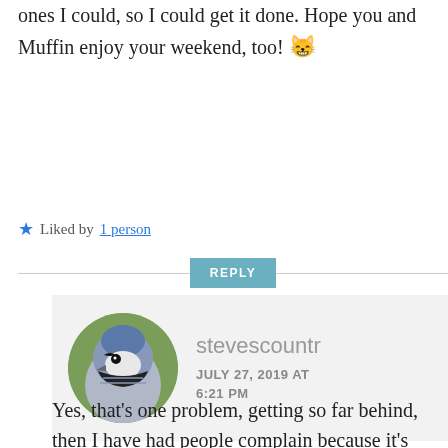ones I could, so I could get it done. Hope you and Muffin enjoy your weekend, too! 😸
★ Liked by 1 person
REPLY
[Figure (photo): Circular avatar photo of a blue jay bird close-up, with blue and white plumage, against a green background]
stevescountr
JULY 27, 2019 AT 6:21 PM
Yes, that's one problem, getting so far behind, then I have had people complain because it's taking so long,